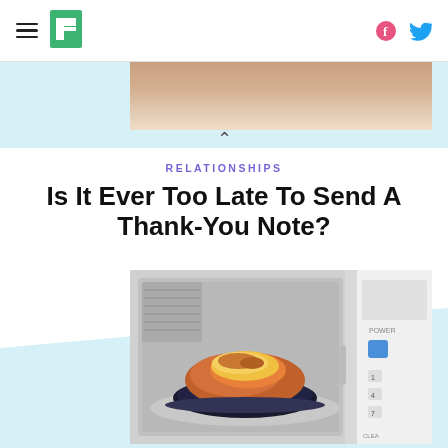HuffPost navigation with hamburger menu, HuffPost logo, Facebook and Twitter icons
[Figure (photo): Partial photo at top showing hands (cropped), likely holding or covering something]
^
RELATIONSHIPS
Is It Ever Too Late To Send A Thank-You Note?
[Figure (photo): Photo of a plate of lasagna or pasta dish inside a microwave oven, viewed from the front with microwave controls visible on the right side]